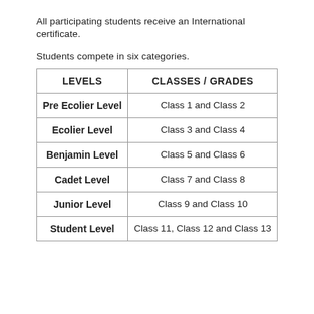All participating students receive an International certificate.
Students compete in six categories.
| LEVELS | CLASSES / GRADES |
| --- | --- |
| Pre Ecolier Level | Class 1 and Class 2 |
| Ecolier Level | Class 3 and Class 4 |
| Benjamin Level | Class 5 and Class 6 |
| Cadet Level | Class 7 and Class 8 |
| Junior Level | Class 9 and Class 10 |
| Student Level | Class 11, Class 12 and Class 13 |